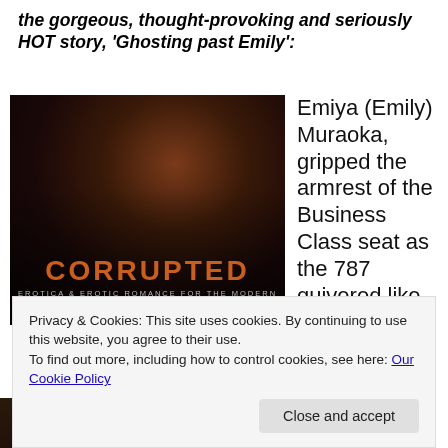the gorgeous, thought-provoking and seriously HOT story, ‘Ghosting past Emily’:
[Figure (photo): Book cover for 'CORRUPTED: Erotica & Erotic Romance for the Modern Age' showing a dark, moody image of a woman's face with orange/brown tones. The title 'CORRUPTED' appears in large orange bold letters, with subtitle 'EROTICA & EROTIC ROMANCE FOR THE MODERN AGE' in small caps below.]
Emiya (Emily) Muraoka, gripped the armrest of the Business Class seat as the 787 quivered like
Privacy & Cookies: This site uses cookies. By continuing to use this website, you agree to their use.
To find out more, including how to control cookies, see here: Our Cookie Policy
Close and accept
l's runway 4